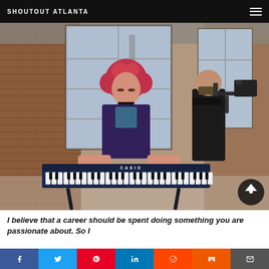SHOUTOUT ATLANTA
[Figure (photo): A woman with red curly hair playing a blue Casio keyboard in an industrial brick-walled loft with large windows, while a cameraman films her with a gimbal-mounted camera.]
I believe that a career should be spent doing something you are passionate about. So I
[Figure (infographic): Social media share buttons bar with icons for Facebook, Twitter, Pinterest, LinkedIn, Reddit, Mix, and Email]